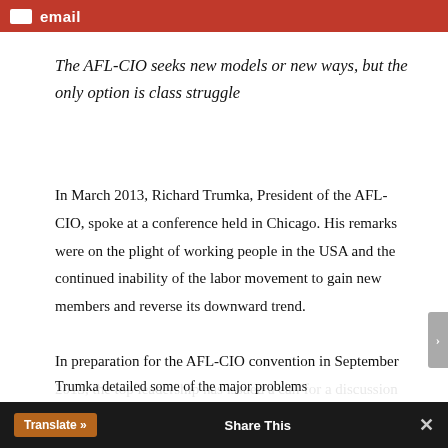Email
The AFL-CIO seeks new models or new ways, but the only option is class struggle
In March 2013, Richard Trumka, President of the AFL-CIO, spoke at a conference held in Chicago. His remarks were on the plight of working people in the USA and the continued inability of the labor movement to gain new members and reverse its downward trend.
In preparation for the AFL-CIO convention in September 2013, the top leadership has issued a call for a discussion on what they have termed, "new models and new ways to gain representation and
Translate » Share This × Trumka detailed some of the major problems